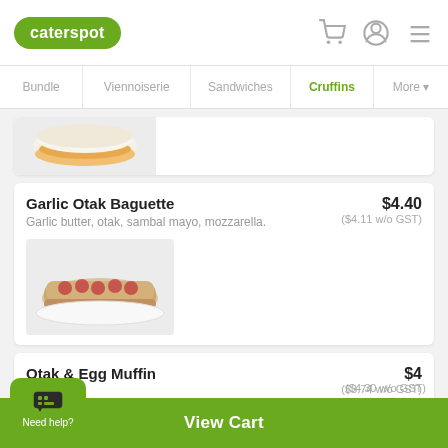caterspot
Bundle | Viennoiserie | Sandwiches | Cruffins | More
[Figure (photo): Partial view of a sandwich muffin with egg and cheese on a white background]
Garlic Otak Baguette
Garlic butter, otak, sambal mayo, mozzarella.
$4.40 ($4.11 w/o GST)
[Figure (photo): Garlic otak baguette with toppings on a white plate]
Otak & Egg Muffin
$4 ($3.74 w/o GST)
($4.30 w/o GST)
View Cart
Need help?